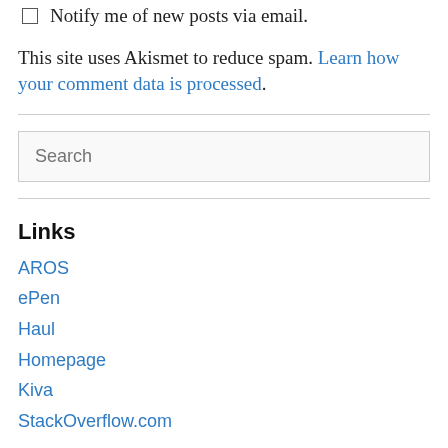Notify me of new posts via email.
This site uses Akismet to reduce spam. Learn how your comment data is processed.
Search
Links
AROS
ePen
Haul
Homepage
Kiva
StackOverflow.com